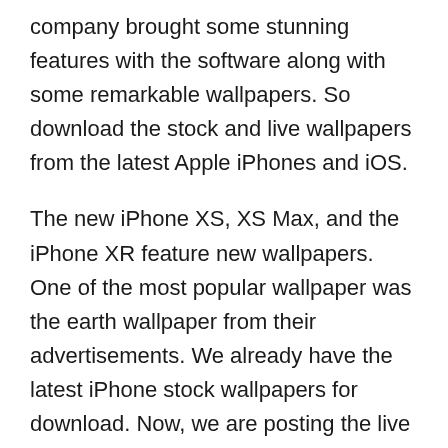company brought some stunning features with the software along with some remarkable wallpapers. So download the stock and live wallpapers from the latest Apple iPhones and iOS.
The new iPhone XS, XS Max, and the iPhone XR feature new wallpapers. One of the most popular wallpaper was the earth wallpaper from their advertisements. We already have the latest iPhone stock wallpapers for download. Now, we are posting the live wallpapers or so-called the video wallpapers; not only form the latest Apple iPhones but also from the popular iOS. We also have the most requested earth wallpaper from the iPhone XS series. Check out the latest iPhones introduction video. The downloads are listed below.